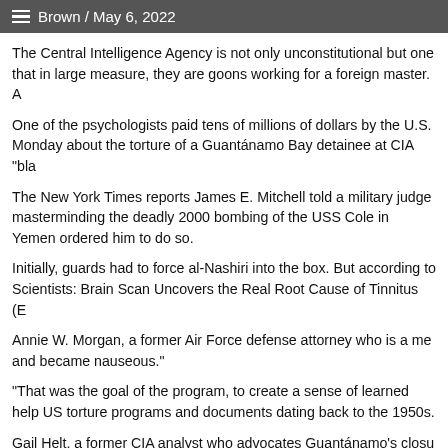Brown / May 6, 2022
The Central Intelligence Agency is not only unconstitutional but one that in large measure, they are goons working for a foreign master. A
One of the psychologists paid tens of millions of dollars by the U.S. Monday about the torture of a Guantánamo Bay detainee at CIA "bla
The New York Times reports James E. Mitchell told a military judge masterminding the deadly 2000 bombing of the USS Cole in Yemen ordered him to do so.
Initially, guards had to force al-Nashiri into the box. But according to Scientists: Brain Scan Uncovers the Real Root Cause of Tinnitus (E
Annie W. Morgan, a former Air Force defense attorney who is a me and became nauseous."
"That was the goal of the program, to create a sense of learned help US torture programs and documents dating back to the 1950s.
Gail Helt, a former CIA analyst who advocates Guantánamo's closu
Al-Nashiri's attorneys – who argue that evidence in the case is taint Gina Haspel oversaw the secret prison.